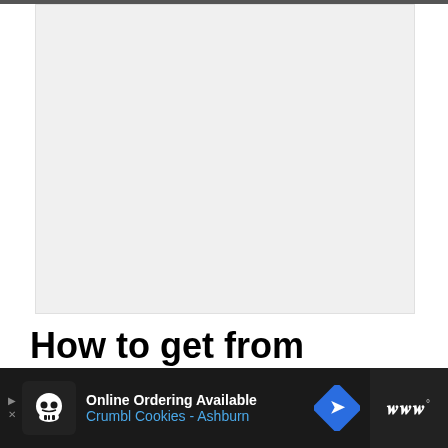[Figure (photo): Large blank/white image placeholder area]
How to get from Barcelona
[Figure (other): Advertisement banner: Online Ordering Available, Crumbl Cookies - Ashburn, with skull cookie logo, blue diamond navigation icon, and dark right block with W logo]